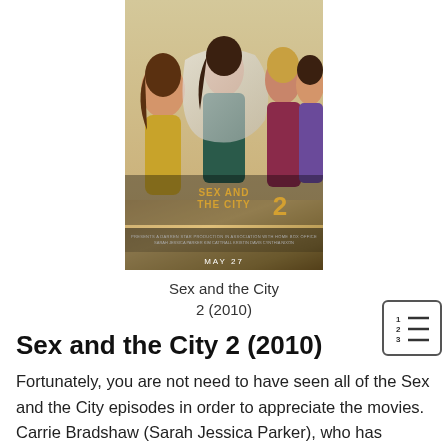[Figure (photo): Movie poster for Sex and the City 2 (2010) showing four women in glamorous outfits, with the title text 'SEX AND THE CITY 2' and 'MAY 27' at the bottom.]
Sex and the City 2 (2010)
Sex and the City 2 (2010)
Fortunately, you are not need to have seen all of the Sex and the City episodes in order to appreciate the movies. Carrie Bradshaw (Sarah Jessica Parker), who has already appeared in two films in the series, provides a classic overview of the